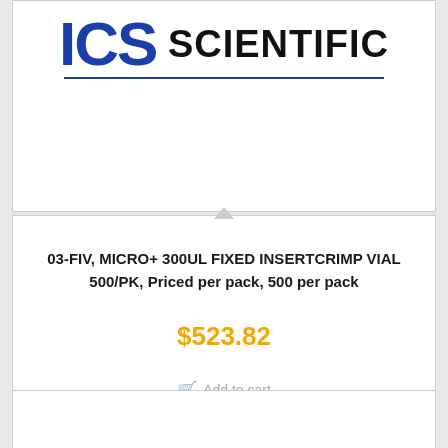[Figure (logo): ICS Scientific company logo with blue stylized letters and black SCIENTIFIC text with blue underline]
03-FIV, MICRO+ 300UL FIXED INSERTCRIMP VIAL 500/PK, Priced per pack, 500 per pack
$523.82
Add to cart
Show Details